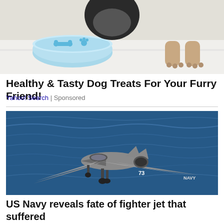[Figure (photo): A dog looking down into a light blue pet bowl with bone and paw print decorations, dog paws visible on right side, white/light background]
Healthy & Tasty Dog Treats For Your Furry Friend!
Yahoo! Search | Sponsored
[Figure (photo): A military fighter jet (F-35) with landing gear down, flying low over dark blue ocean water, number 73 visible on fuselage, NAVY marking visible]
US Navy reveals fate of fighter jet that suffered